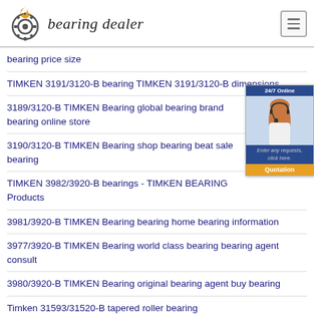bearing dealer
bearing price size
TIMKEN 3191/3120-B bearing TIMKEN 3191/3120-B dimensions
3189/3120-B TIMKEN Bearing global bearing brand bearing online store
3190/3120-B TIMKEN Bearing shop bearing beat sale bearing
TIMKEN 3982/3920-B bearings - TIMKEN BEARING Products
3981/3920-B TIMKEN Bearing bearing home bearing information
3977/3920-B TIMKEN Bearing world class bearing bearing agent consult
3980/3920-B TIMKEN Bearing original bearing agent buy bearing
Timken 31593/31520-B tapered roller bearing Industrial
3979/3920-B TIMKEN Bearing quality bearing supplier